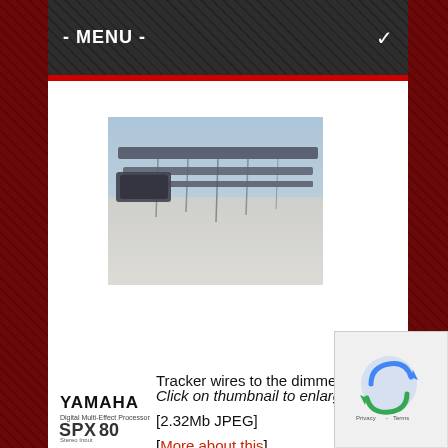- MENU -
[Figure (photo): Blurry photo of tracker wires going to dimmers, showing electrical cables and equipment on a ceiling or wall structure]
Tracker wires to the dimmers
Click on thumbnail to enlarge
[2.32Mb JPEG]
[More about this]
[Figure (logo): Yamaha logo with SPX80 Digital Multi-Effect Processor text]